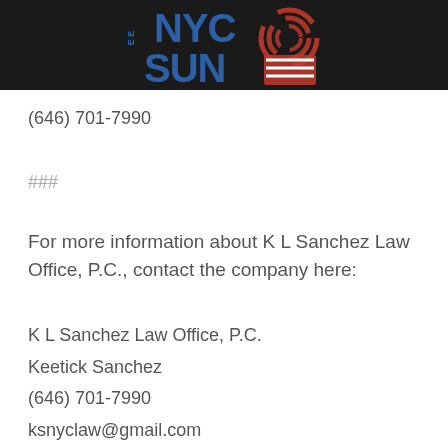[Figure (logo): NYC Sun logo with blue bold text 'NYC SUN' and red swirl graphic on dark/black background header bar]
(646) 701-7990
###
For more information about K L Sanchez Law Office, P.C., contact the company here:
K L Sanchez Law Office, P.C.
Keetick Sanchez
(646) 701-7990
ksnyclaw@gmail.com
3763 83rd St #1m,
Jackson Heights, 11372